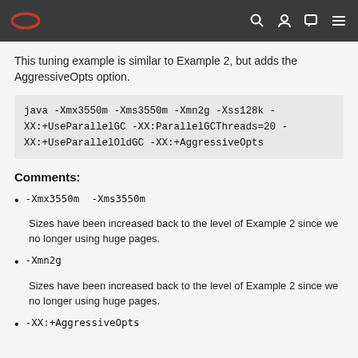Oracle navigation bar with logo and icons
This tuning example is similar to Example 2, but adds the AggressiveOpts option.
Comments:
-Xmx3550m  -Xms3550m
Sizes have been increased back to the level of Example 2 since we no longer using huge pages.
-Xmn2g
Sizes have been increased back to the level of Example 2 since we no longer using huge pages.
-XX:+AggressiveOpts